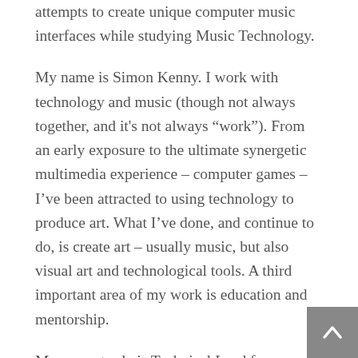attempts to create unique computer music interfaces while studying Music Technology.
My name is Simon Kenny. I work with technology and music (though not always together, and it's not always “work”). From an early exposure to the ultimate synergetic multimedia experience – computer games – I’ve been attracted to using technology to produce art. What I’ve done, and continue to do, is create art – usually music, but also visual art and technological tools. A third important area of my work is education and mentorship.
My current role is Technical Lead for a small team at Marino Software. At present, we are the Android platform team for Vero True Social, a privacy-focused and ad-free social network. I have only recently been given the technical lead role and it’s certainly a new